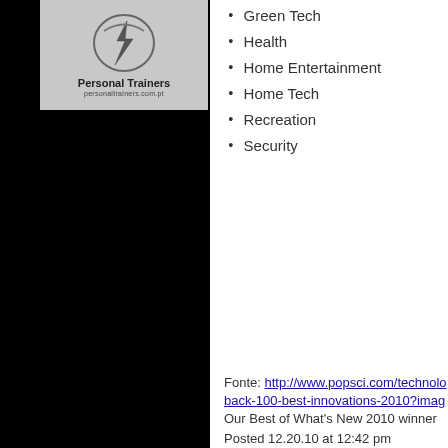[Figure (logo): Personal Trainers logo with stylized lightning bolt graphic, website personaltrainers.com.pt]
Green Tech
Health
Home Entertainment
Home Tech
Recreation
Security
Fonte: http://www.popsci.com/technolo back-100-best-innovations-2010?imag Our Best of What's New 2010 winner Posted 12.20.10 at 12:42 pm